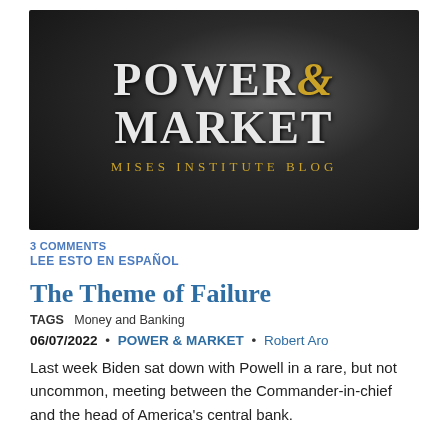[Figure (logo): Power & Market – Mises Institute Blog banner logo on dark blurred background]
3 COMMENTS
LEE ESTO EN ESPAÑOL
The Theme of Failure
TAGS   Money and Banking
06/07/2022  •  POWER & MARKET  •  Robert Aro
Last week Biden sat down with Powell in a rare, but not uncommon, meeting between the Commander-in-chief and the head of America's central bank.